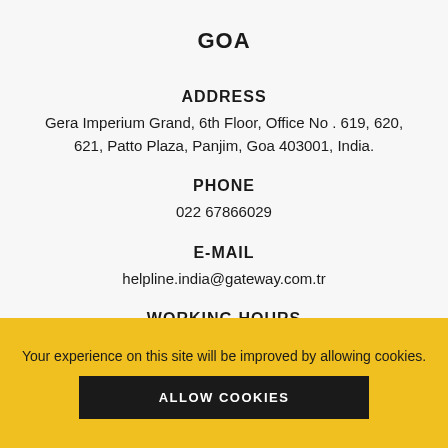GOA
ADDRESS
Gera Imperium Grand, 6th Floor, Office No . 619, 620, 621, Patto Plaza, Panjim, Goa 403001, India.
PHONE
022 67866029
E-MAIL
helpline.india@gateway.com.tr
WORKING HOURS
''Closed due to Covid''
Your experience on this site will be improved by allowing cookies.
ALLOW COOKIES